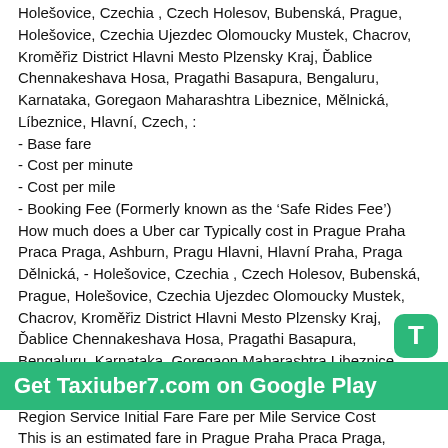Holešovice, Czechia , Czech Holesov, Bubenská, Prague, Holešovice, Czechia Ujezdec Olomoucky Mustek, Chacrov, Kroměřiz District Hlavni Mesto Plzensky Kraj, Ďablice Chennakeshava Hosa, Pragathi Basapura, Bengaluru, Karnataka, Goregaon Maharashtra Libeznice, Mělnická, Líbeznice, Hlavní, Czech, :
- Base fare
- Cost per minute
- Cost per mile
- Booking Fee (Formerly known as the 'Safe Rides Fee')
How much does a Uber car Typically cost in Prague Praha Praca Praga, Ashburn, Pragu Hlavni, Hlavní Praha, Praga Dělnická, - Holešovice, Czechia , Czech Holesov, Bubenská, Prague, Holešovice, Czechia Ujezdec Olomoucky Mustek, Chacrov, Kroměřiz District Hlavni Mesto Plzensky Kraj, Ďablice Chennakeshava Hosa, Pragathi Basapura, Bengaluru, Karnataka, Goregaon Maharashtra Libeznice, Mělnická, Líbeznice, Hlavní, Czech, ?
Region Service Initial Fare Fare per Mile Service Cost This is an estimated fare in Prague Praha Praca Praga, Ashburn, Pragu Hlavni, Hlavní Praha, Praga Dělnická, -Holešovice, Czechia Czech Holesov, Bubenská, Prague, Holešovice, Czechia Ujezdec Olomoucky Mustek, Chacrov, Kroměřiz District Hlavni Mesto Plzensky Kraj, Ďablice Chennakeshava Hosa, Pragathi Basapura, Bengaluru, Karnataka, Goregaon Maharashtra Libeznice, Mělnická